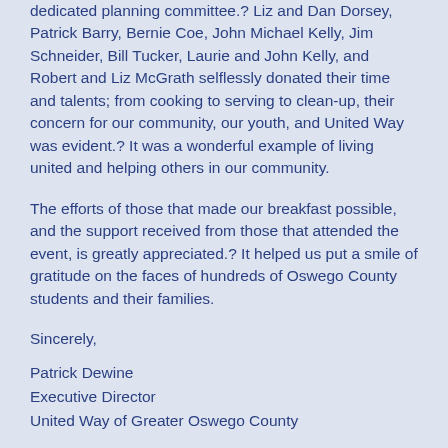dedicated planning committee.? Liz and Dan Dorsey, Patrick Barry, Bernie Coe, John Michael Kelly, Jim Schneider, Bill Tucker, Laurie and John Kelly, and Robert and Liz McGrath selflessly donated their time and talents; from cooking to serving to clean-up, their concern for our community, our youth, and United Way was evident.? It was a wonderful example of living united and helping others in our community.
The efforts of those that made our breakfast possible, and the support received from those that attended the event, is greatly appreciated.? It helped us put a smile of gratitude on the faces of hundreds of Oswego County students and their families.
Sincerely,
Patrick Dewine
Executive Director
United Way of Greater Oswego County